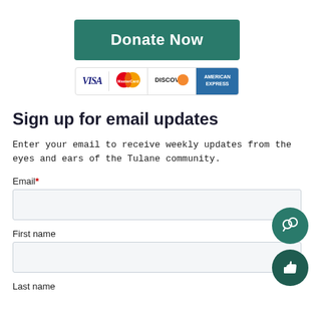[Figure (other): Donate Now button with teal background and white bold text]
[Figure (other): Payment card logos: VISA, MasterCard, Discover, American Express]
Sign up for email updates
Enter your email to receive weekly updates from the eyes and ears of the Tulane community.
Email*
First name
Last name